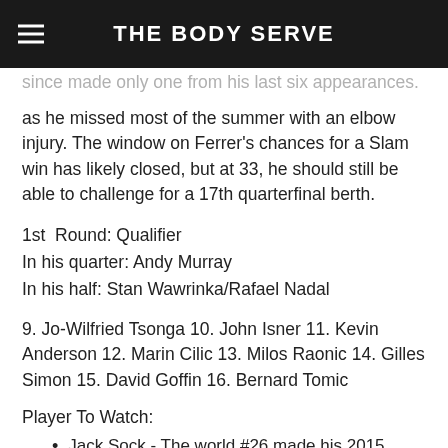THE BODY SERVE
since made only one from his last six appearances. Still, his singles titles in 2015 put him on tour, even as he missed most of the summer with an elbow injury. The window on Ferrer's chances for a Slam win has likely closed, but at 33, he should still be able to challenge for a 17th quarterfinal berth.
1st Round: Qualifier
In his quarter: Andy Murray
In his half: Stan Wawrinka/Rafael Nadal
9. Jo-Wilfried Tsonga 10. John Isner 11. Kevin Anderson 12. Marin Cilic 13. Milos Raonic 14. Gilles Simon 15. David Goffin 16. Bernard Tomic
Player To Watch:
Jack Sock - The world #26 made his 2015 debut in Indian Wells and has nothing to lose in the early going of 2016. He's already scored wins over